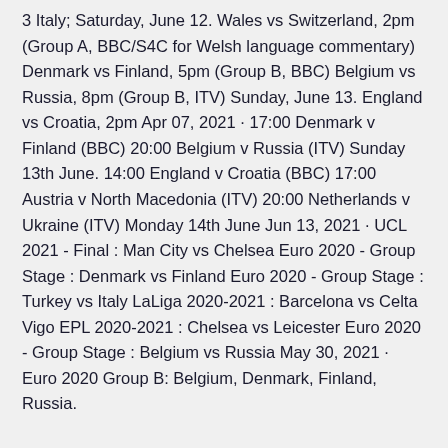3 Italy; Saturday, June 12. Wales vs Switzerland, 2pm (Group A, BBC/S4C for Welsh language commentary) Denmark vs Finland, 5pm (Group B, BBC) Belgium vs Russia, 8pm (Group B, ITV) Sunday, June 13. England vs Croatia, 2pm Apr 07, 2021 · 17:00 Denmark v Finland (BBC) 20:00 Belgium v Russia (ITV) Sunday 13th June. 14:00 England v Croatia (BBC) 17:00 Austria v North Macedonia (ITV) 20:00 Netherlands v Ukraine (ITV) Monday 14th June Jun 13, 2021 · UCL 2021 - Final : Man City vs Chelsea Euro 2020 - Group Stage : Denmark vs Finland Euro 2020 - Group Stage : Turkey vs Italy LaLiga 2020-2021 : Barcelona vs Celta Vigo EPL 2020-2021 : Chelsea vs Leicester Euro 2020 - Group Stage : Belgium vs Russia May 30, 2021 · Euro 2020 Group B: Belgium, Denmark, Finland, Russia.